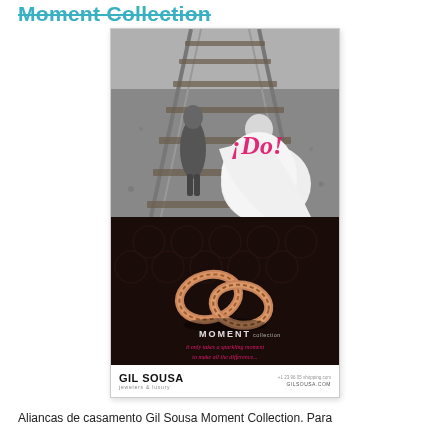Moment Collection
[Figure (photo): Advertisement card for Gil Sousa Moment Collection jewelry. Top half: black and white photo of a couple (viewed from behind) walking on railroad tracks, the woman in a white wedding dress with pink text '¡Do!' overlaid. Bottom half: dark background showing two gold/rose-gold chain-link wedding rings, with text 'MOMENT collection' and tagline 'it only takes a sparkling moment to make all the difference...' in pink cursive. Brand bar at bottom: 'GIL SOUSA jewelers & luxury' on the left, website GILSOUSA.COM on the right.]
Aliancas de casamento Gil Sousa Moment Collection. Para